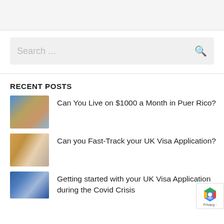[Figure (other): Top navigation bar area, light gray background]
Search ...
RECENT POSTS
Can You Live on $1000 a Month in Puerto Rico?
Can you Fast-Track your UK Visa Application?
Getting started with your UK Visa Application during the Covid Crisis